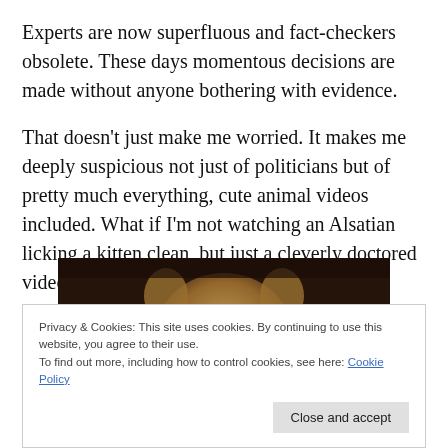Experts are now superfluous and fact-checkers obsolete. These days momentous decisions are made without anyone bothering with evidence.
That doesn't just make me worried. It makes me deeply suspicious not just of politicians but of pretty much everything, cute animal videos included. What if I'm not watching an Alsatian licking a kitten clean, but just a cleverly doctored video of a dog preparing his lunch?
[Figure (photo): Partial photo of a cat or small furry animal, cropped, partially obscured by cookie consent banner]
Privacy & Cookies: This site uses cookies. By continuing to use this website, you agree to their use.
To find out more, including how to control cookies, see here: Cookie Policy
Close and accept